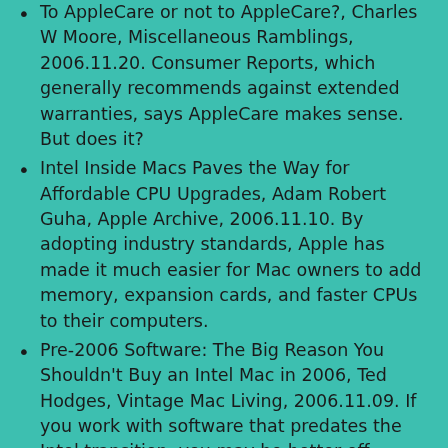To AppleCare or not to AppleCare?, Charles W Moore, Miscellaneous Ramblings, 2006.11.20. Consumer Reports, which generally recommends against extended warranties, says AppleCare makes sense. But does it?
Intel Inside Macs Paves the Way for Affordable CPU Upgrades, Adam Robert Guha, Apple Archive, 2006.11.10. By adopting industry standards, Apple has made it much easier for Mac owners to add memory, expansion cards, and faster CPUs to their computers.
Pre-2006 Software: The Big Reason You Shouldn't Buy an Intel Mac in 2006, Ted Hodges, Vintage Mac Living, 2006.11.09. If you work with software that predates the Intel transition, you may be better off sticking with PowerPC Macs. And if you use classic apps, you definitely want to avoid Intel.
Use Any Networked Computer as an Additional Mac Display, Fixing AirPort Problems with OS X 10.4.8, and More, Mac News Review, 2006.10.06. Also Logitech's new Edge keyboard, a keyboard cover just for Pro Tools, MondoMouse